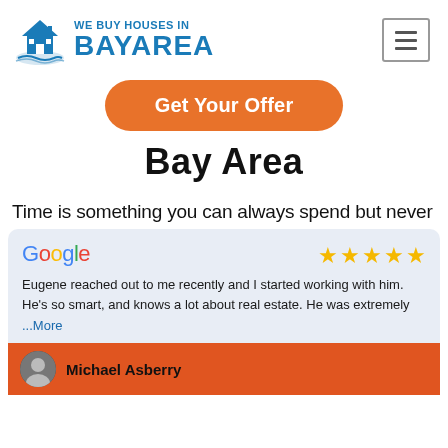[Figure (logo): We Buy Houses in Bay Area logo with house icon]
Get Your Offer
Bay Area
Time is something you can always spend but never
[Figure (screenshot): Google review card with 5 stars. Text: Eugene reached out to me recently and I started working with him. He's so smart, and knows a lot about real estate. He was extremely ...More. Reviewer: Michael Asberry]